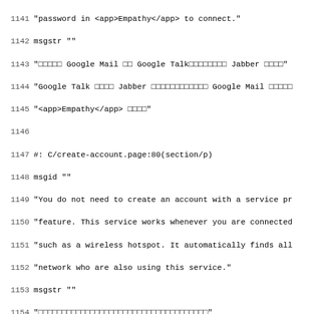Source code / localization file content (PO file), lines 1141-1172+